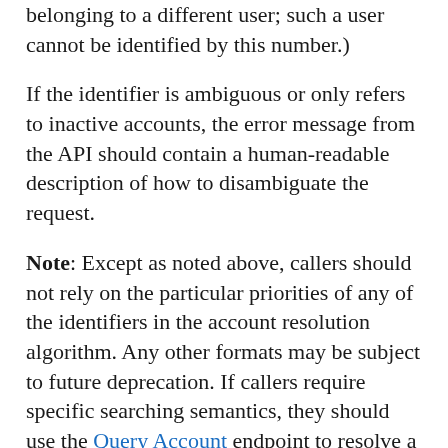belonging to a different user; such a user cannot be identified by this number.)
If the identifier is ambiguous or only refers to inactive accounts, the error message from the API should contain a human-readable description of how to disambiguate the request.
Note: Except as noted above, callers should not rely on the particular priorities of any of the identifiers in the account resolution algorithm. Any other formats may be subject to future deprecation. If callers require specific searching semantics, they should use the Query Account endpoint to resolve a string to one or more accounts, then access the API using the account ID.
{capability_id}